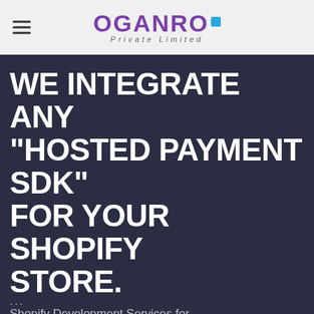Oganro Private Limited
WE INTEGRATE ANY “HOSTED PAYMENT SDK” FOR YOUR SHOPIFY STORE.
Shopify Development Services for Custom Payment Methods!
Need Help? Chat with us
...